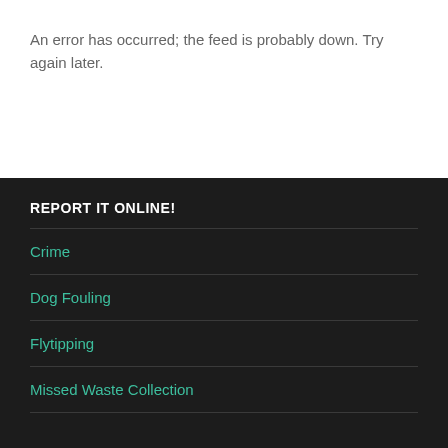An error has occurred; the feed is probably down. Try again later.
REPORT IT ONLINE!
Crime
Dog Fouling
Flytipping
Missed Waste Collection